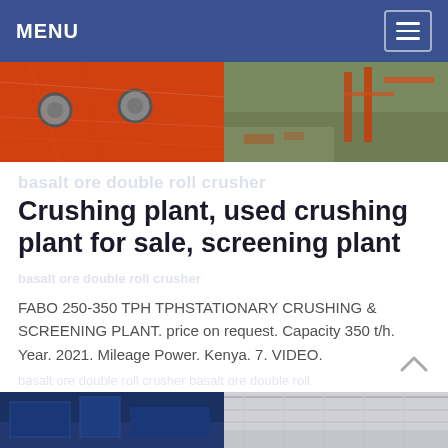MENU
[Figure (photo): Two side-by-side photos: left shows orange/red industrial metal surface with bolt heads and scratch marks; right shows an outdoor construction/industrial site with machinery and orange structural framework]
Crushing plant, used crushing plant for sale, screening plant
FABO 250-350 TPH TPHSTATIONARY CRUSHING & SCREENING PLANT. price on request. Capacity 350 t/h. Year. 2021. Mileage Power. Kenya. 7. VIDEO.
[Figure (photo): Two side-by-side photos at the bottom: left shows a dark blue industrial building exterior; right shows an indoor industrial/warehouse space with roof structure visible]